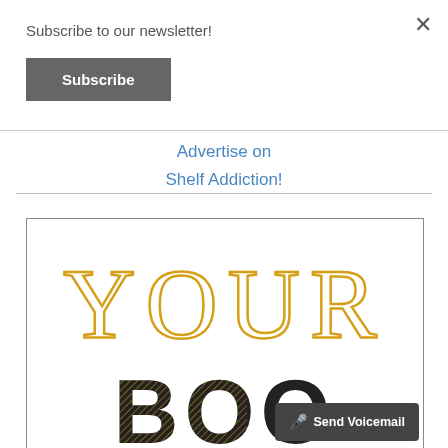Subscribe to our newsletter!
Subscribe
Advertise on Shelf Addiction!
[Figure (illustration): Book cover advertisement image showing the text 'YOUR' in large outlined golden/yellow letters and partial text 'BOO' below in bold black letters with golden fill pattern, with a 'Send Voicemail' button overlay]
Send Voicemail